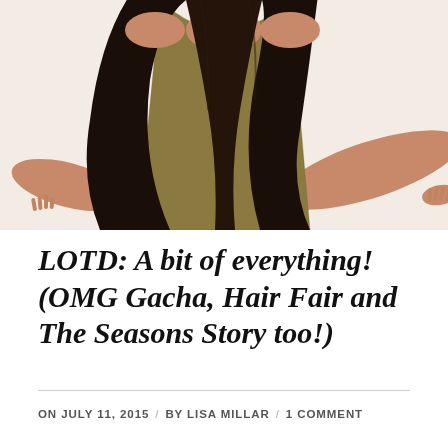[Figure (illustration): A 3D rendered avatar/character with dark long hair wearing an olive/khaki colored dress, arms spread wide, shown from neck to waist area, on a light beige background. The character's head is partially cropped at the top.]
LOTD: A bit of everything! (OMG Gacha, Hair Fair and The Seasons Story too!)
ON JULY 11, 2015  /  BY LISA MILLAR  /  1 COMMENT